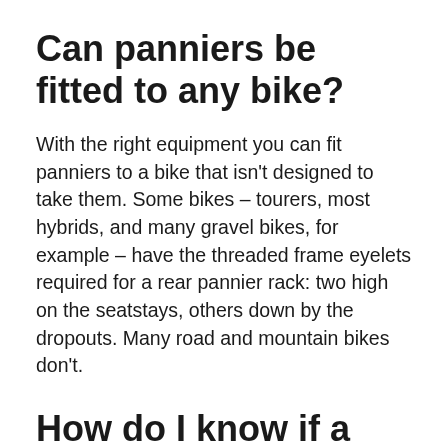Can panniers be fitted to any bike?
With the right equipment you can fit panniers to a bike that isn't designed to take them. Some bikes – tourers, most hybrids, and many gravel bikes, for example – have the threaded frame eyelets required for a rear pannier rack: two high on the seatstays, others down by the dropouts. Many road and mountain bikes don't.
How do I know if a pannier rack will fit my bike?
A compatible bike will have eyelets for panniers near the tops of the seatstays and